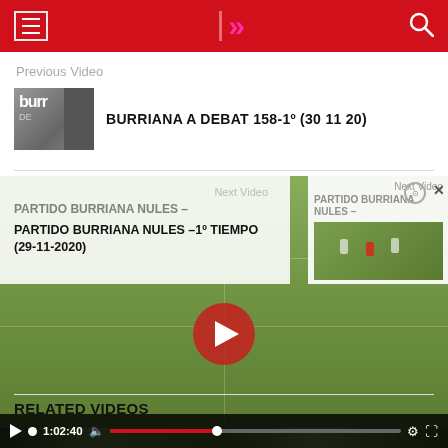Navigation header with menu, logo, and search
Previous Video
BURRIANA A DEBAT 158-1º (30 11 20)
[Figure (screenshot): Video player showing a football/soccer match on a grass field with players visible, overlaid with next video popup and play button. Controls bar shows 1:02:40 timestamp.]
Next Video
PARTIDO BURRIANA NULES –
PARTIDO BURRIANA NULES –1º TIEMPO (29-11-2020)
RELATED VIDEOS